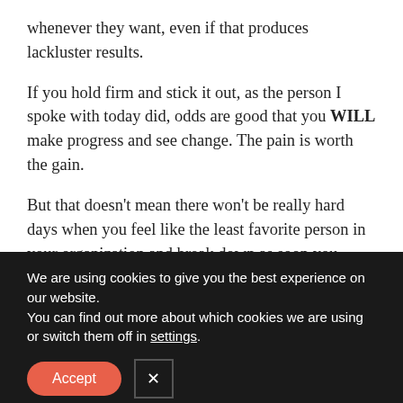whenever they want, even if that produces lackluster results.
If you hold firm and stick it out, as the person I spoke with today did, odds are good that you WILL make progress and see change. The pain is worth the gain.
But that doesn't mean there won't be really hard days when you feel like the least favorite person in your organization and break down as soon you
We are using cookies to give you the best experience on our website.
You can find out more about which cookies we are using or switch them off in settings.